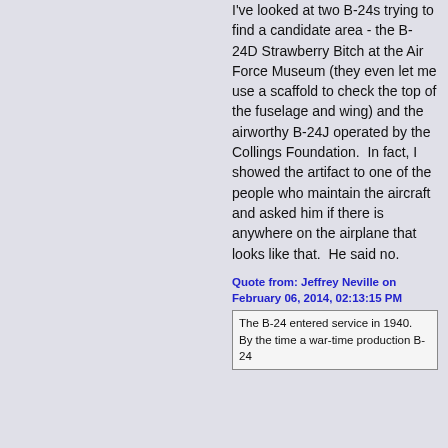I've looked at two B-24s trying to find a candidate area - the B-24D Strawberry Bitch at the Air Force Museum (they even let me use a scaffold to check the top of the fuselage and wing) and the airworthy B-24J operated by the Collings Foundation.   In fact, I showed the artifact to one of the people who maintain the aircraft and asked him if there is anywhere on the airplane that looks like that.  He said no.
Quote from: Jeffrey Neville on February 06, 2014, 02:13:15 PM
The B-24 entered service in 1940.  By the time a war-time production B-24